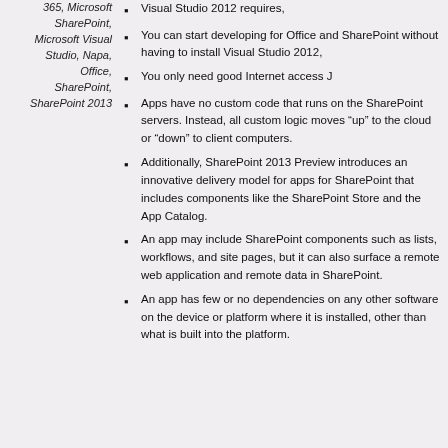365, Microsoft SharePoint, Microsoft Visual Studio, Napa, Office, SharePoint, SharePoint 2013
Visual Studio 2012 requires,
You can start developing for Office and SharePoint without having to install Visual Studio 2012,
You only need good Internet access J
Apps have no custom code that runs on the SharePoint servers. Instead, all custom logic moves “up” to the cloud or “down” to client computers.
Additionally, SharePoint 2013 Preview introduces an innovative delivery model for apps for SharePoint that includes components like the SharePoint Store and the App Catalog.
An app may include SharePoint components such as lists, workflows, and site pages, but it can also surface a remote web application and remote data in SharePoint.
An app has few or no dependencies on any other software on the device or platform where it is installed, other than what is built into the platform.